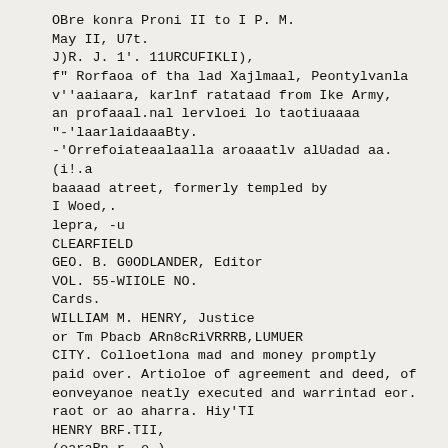OBre konra Proni II to I P. M.
May II, U7t.
J)R. J. 1'. 11URCUFIKLI),
f" Rorfaoa of tha lad Xajlmaal, Peontylvanla
v''aaiaara, karlnf ratataad from Ike Army,
an profaaal.nal lervloei lo taotiuaaaa
"-'laarlaidaaaBty.
-'Orrefoiateaalaalla aroaaatlv alUadad aa.
(i!.a
baaaad atreet, formerly templed by
I Woed,.
lepra, -u
CLEARFIELD
GEO. B. G0ODLANDER, Editor
VOL. 55-WIIOLE NO.
Cards.
WILLIAM M. HENRY, Justice
or Tm Pbacb ARn8cRiVRRRB,LUMUER
CITY. Colloetlona mad and money promptly
paid over. Artioloe of agreement and deed, of
eonveyanoe neatly executed and warrintad eor.
raot or ao aharra. Hiy'TI
HENRY BRF.TII,
(oaraRn r. o.)
JUSTICE OF THE PEACE